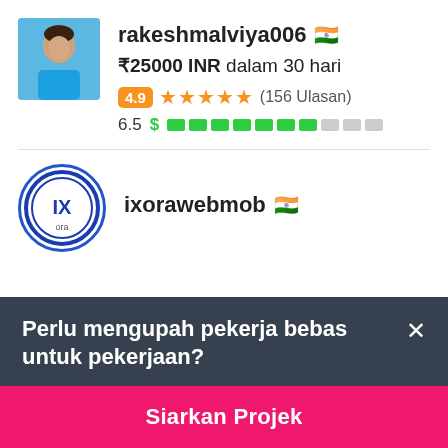[Figure (photo): Profile photo of rakeshmalviya006, a person in a blue shirt]
rakeshmalviya006 🇮🇳
₹25000 INR dalam 30 hari
4.9 ★★★★★ (156 Ulasan)
6.5 $ ▓▓▓▓▓▓▓░░░
[Figure (logo): IXora web mob logo, circular with blue border and IX letters]
ixorawebmob 🇮🇳
Perlu mengupah pekerja bebas untuk pekerjaan?
Siarkan Projek